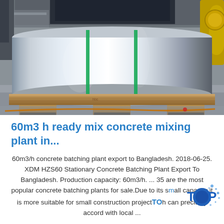[Figure (photo): Industrial photo of a large cylindrical metal roll (likely aluminum or steel coil) secured with green straps, sitting on a wooden pallet in a factory or warehouse setting. Background shows industrial equipment and machinery.]
60m3 h ready mix concrete mixing plant in...
60m3/h concrete batching plant export to Bangladesh. 2018-06-25. XDM HZS60 Stationary Concrete Batching Plant Export To Bangladesh. Production capacity: 60m3/h. ... 35 are the most popular concrete batching plants for sale.Due to its small capacity it is more suitable for small construction projects, can precisely accord with local ...